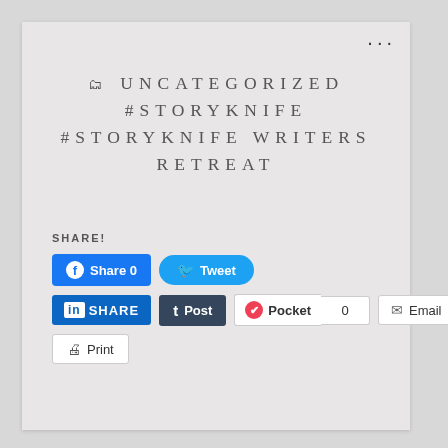• • •
UNCATEGORIZED #STORYKNIFE #STORYKNIFE WRITERS RETREAT
SHARE!
[Figure (screenshot): Social sharing buttons: Facebook Share 0, Tweet, LinkedIn SHARE, Tumblr Post, Pocket 0, Email, Print]